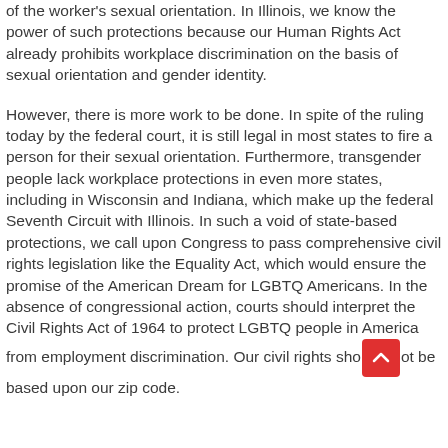of the worker's sexual orientation. In Illinois, we know the power of such protections because our Human Rights Act already prohibits workplace discrimination on the basis of sexual orientation and gender identity.
However, there is more work to be done. In spite of the ruling today by the federal court, it is still legal in most states to fire a person for their sexual orientation. Furthermore, transgender people lack workplace protections in even more states, including in Wisconsin and Indiana, which make up the federal Seventh Circuit with Illinois. In such a void of state-based protections, we call upon Congress to pass comprehensive civil rights legislation like the Equality Act, which would ensure the promise of the American Dream for LGBTQ Americans. In the absence of congressional action, courts should interpret the Civil Rights Act of 1964 to protect LGBTQ people in America from employment discrimination. Our civil rights should not be based upon our zip code.